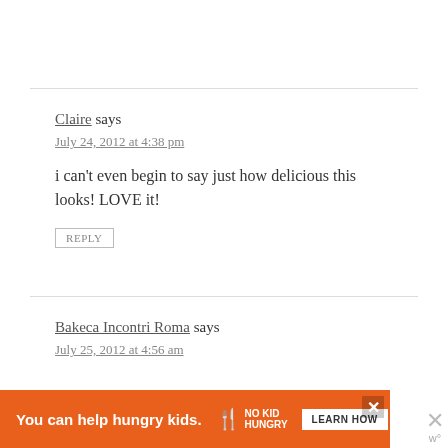Claire says
July 24, 2012 at 4:38 pm
i can't even begin to say just how delicious this looks! LOVE it!
REPLY
Bakeca Incontri Roma says
July 25, 2012 at 4:56 am
[Figure (infographic): Orange advertisement banner: 'You can help hungry kids.' with No Kid Hungry logo and 'LEARN HOW' button]